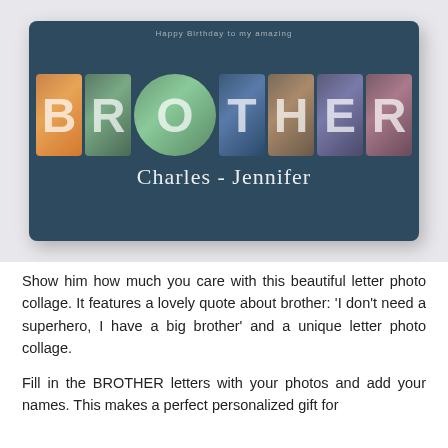[Figure (photo): Product photo of a personalized BROTHER letter photo collage canvas print on a dark navy blue background. The word BROTHER is spelled out in large bold letters, each filled with a different family/couple photo. Below the letters is a cursive signature reading 'Charles - Jennifer'. The canvas is displayed on a light gray surface.]
Show him how much you care with this beautiful letter photo collage. It features a lovely quote about brother: 'I don't need a superhero, I have a big brother' and a unique letter photo collage.
Fill in the BROTHER letters with your photos and add your names. This makes a perfect personalized gift for